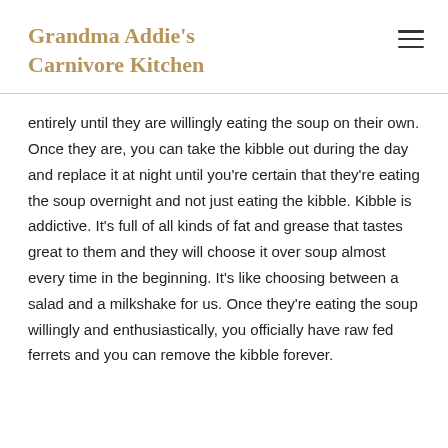Grandma Addie's Carnivore Kitchen
entirely until they are willingly eating the soup on their own. Once they are, you can take the kibble out during the day and replace it at night until you're certain that they're eating the soup overnight and not just eating the kibble. Kibble is addictive. It's full of all kinds of fat and grease that tastes great to them and they will choose it over soup almost every time in the beginning. It's like choosing between a salad and a milkshake for us. Once they're eating the soup willingly and enthusiastically, you officially have raw fed ferrets and you can remove the kibble forever.